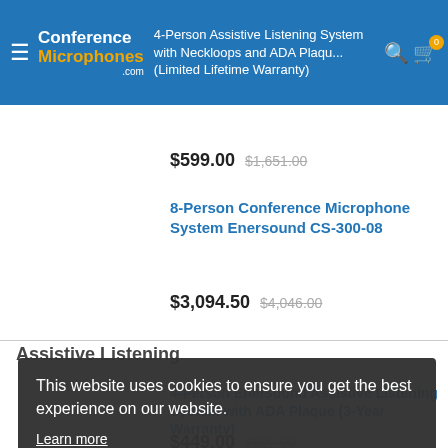Conference Microphones .com — 4-Person Assistive Listening System with Neckloops and ADA Plaque (Limited Lifetime Warranty)
$599.00  $1,651.00
8-Person Conference Microphone System Enersound CS-300-08
$3,094.50  $4,046.00
Assistive Listening
4-Person Enersound Assistive Listening System with ADA Plaque (3-Year Warranty)
$449.00  $529.00
This website uses cookies to ensure you get the best experience on our website.
Learn more
Got it!